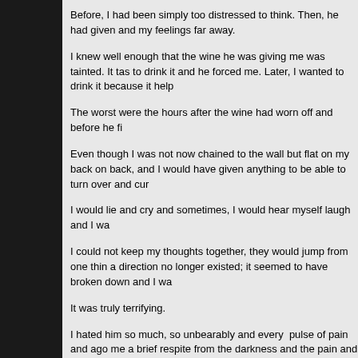Before, I had been simply too distressed to think. Then, he had given and my feelings far away.
I knew well enough that the wine he was giving me was tainted. It tas to drink it and he forced me. Later, I wanted to drink it because it help
The worst were the hours after the wine had worn off and before he fi
Even though I was not now chained to the wall but flat on my back on back, and I would have given anything to be able to turn over and cur
I would lie and cry and sometimes, I would hear myself laugh and I wa
I could not keep my thoughts together, they would jump from one thin a direction no longer existed; it seemed to have broken down and I wa
It was truly terrifying.
I hated him so much, so unbearably and every pulse of pain and ago me a brief respite from the darkness and the pain and I could not help his footsteps, saw his blue light approaching.
I hated myself for my own weakness and for not being able to save m
I hated myself with abandon every time I took food from his hand, eve not fight him, bite him, strike him, try and kill him.